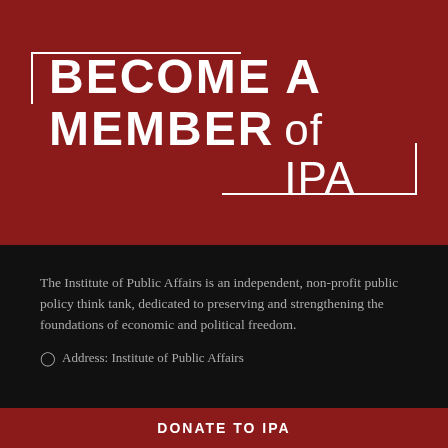BECOME A MEMBER of IPA
The Institute of Public Affairs is an independent, non-profit public policy think tank, dedicated to preserving and strengthening the foundations of economic and political freedom.
Address: Institute of Public Affairs
DONATE to IPA